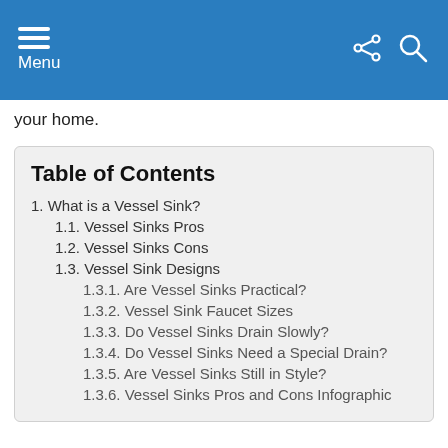Menu
your home.
Table of Contents
1. What is a Vessel Sink?
1.1. Vessel Sinks Pros
1.2. Vessel Sinks Cons
1.3. Vessel Sink Designs
1.3.1. Are Vessel Sinks Practical?
1.3.2. Vessel Sink Faucet Sizes
1.3.3. Do Vessel Sinks Drain Slowly?
1.3.4. Do Vessel Sinks Need a Special Drain?
1.3.5. Are Vessel Sinks Still in Style?
1.3.6. Vessel Sinks Pros and Cons Infographic